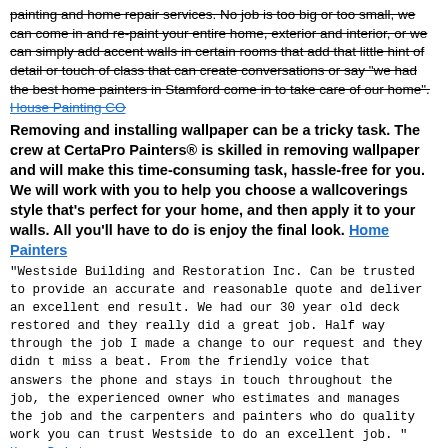painting and home repair services. No job is too big or too small, we can come in and re-paint your entire home, exterior and interior, or we can simply add accent walls in certain rooms that add that little hint of detail or touch of class that can create conversations or say "we had the best home painters in Stamford come in to take care of our home". House Painting CO
Removing and installing wallpaper can be a tricky task. The crew at CertaPro Painters® is skilled in removing wallpaper and will make this time-consuming task, hassle-free for you. We will work with you to help you choose a wallcoverings style that's perfect for your home, and then apply it to your walls. All you'll have to do is enjoy the final look. Home Painters
"Westside Building and Restoration Inc. Can be trusted to provide an accurate and reasonable quote and deliver an excellent end result. We had our 30 year old deck restored and they really did a great job. Half way through the job I made a change to our request and they didn t miss a beat. From the friendly voice that answers the phone and stays in touch throughout the job, the experienced owner who estimates and manages the job and the carpenters and painters who do quality work you can trust Westside to do an excellent job. " Home Painters